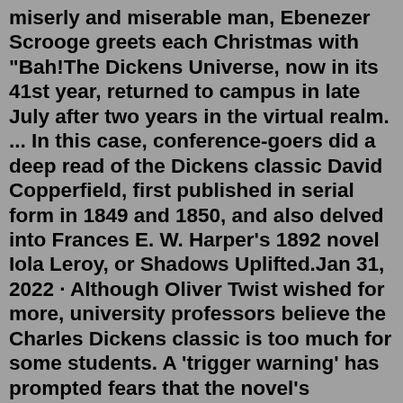miserly and miserable man, Ebenezer Scrooge greets each Christmas with "Bah!The Dickens Universe, now in its 41st year, returned to campus in late July after two years in the virtual realm. ... In this case, conference-goers did a deep read of the Dickens classic David Copperfield, first published in serial form in 1849 and 1850, and also delved into Frances E. W. Harper's 1892 novel Iola Leroy, or Shadows Uplifted.Jan 31, 2022 · Although Oliver Twist wished for more, university professors believe the Charles Dickens classic is too much for some students. A 'trigger warning' has prompted fears that the novel's portrayals of poverty and crime-ridden London will induce 'worry' or 'distress' have prompted a 'trigger warning.' Charles Dickens: Four Novels (Leather-bound Classics) Charles Dickens 1,220 Leather Bound 40 offers from $10.42 Major Works of Charles Dickens (Great Expectations / Hard Times / Oliver Twist / A Christmas Carol / Bleak House / A Tale of Two Cities) (Penguin Clothbound Classics) Charles Dickens 507 Hardcover 45 offers from $59.99Classics